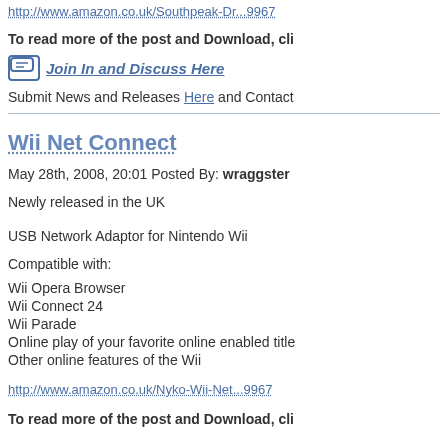http://www.amazon.co.uk/Southpeak-Dr...9967
To read more of the post and Download, cli
Join In and Discuss Here
Submit News and Releases Here and Contact
Wii Net Connect
May 28th, 2008, 20:01 Posted By: wraggster
Newly released in the UK
USB Network Adaptor for Nintendo Wii
Compatible with:
Wii Opera Browser
Wii Connect 24
Wii Parade
Online play of your favorite online enabled title
Other online features of the Wii
http://www.amazon.co.uk/Nyko-Wii-Net...9967
To read more of the post and Download, cli